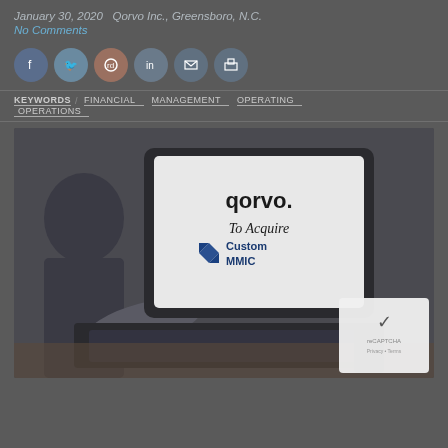January 30, 2020   Qorvo Inc., Greensboro, N.C.
No Comments
[Figure (illustration): Six social media / sharing icons in circles: Facebook, Twitter, Reddit, LinkedIn, Email, Print]
KEYWORDS / FINANCIAL   MANAGEMENT   OPERATING   OPERATIONS
[Figure (photo): Person at laptop with screen showing 'Qorvo To Acquire Custom MMIC' announcement. Recaptcha overlay visible in bottom right corner.]